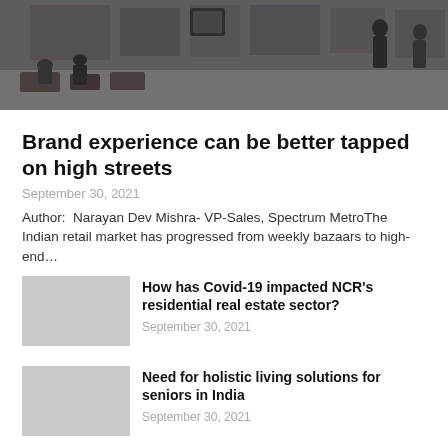[Figure (photo): Shopping mall interior with people walking and sitting, stores in background]
Brand experience can be better tapped on high streets
September 30, 2021
Author:  Narayan Dev Mishra- VP-Sales, Spectrum MetroThe Indian retail market has progressed from weekly bazaars to high-end…
How has Covid-19 impacted NCR's residential real estate sector?
September 30, 2021
Need for holistic living solutions for seniors in India
September 30, 2021